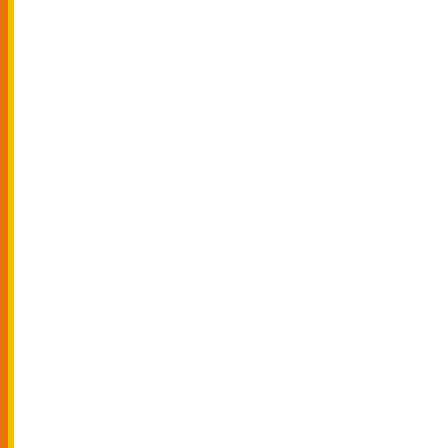| No. | Date | Description |
| --- | --- | --- |
| 216. | 19/09/2020 | Notification f... ADVANCED |
| 217. | 18/09/2020 | Instructions g... exam Septer |
| 218. | 16/09/2020 | Appointment... conduct of fi... w.e.f. 17.09.... |
| 219. | 16/09/2020 | Pattern for a... Examination |
| 220. | 16/09/2020 | Evaluation g |
| 221. | 16/09/2020 | For all the Pr... Chandigarh ... exam Septer |
| 222. | 16/09/2020 | For departme... evaluation e... |
| 223. | 16/09/2020 | Evaluation G |
| 224. | 14/09/2020 | Clarification ... examination ... for UG/ PG B |
| 225. | 14/09/2020 | Revised Inst |
| 226. | 14/09/2020 | Notice for Pr... answer shee |